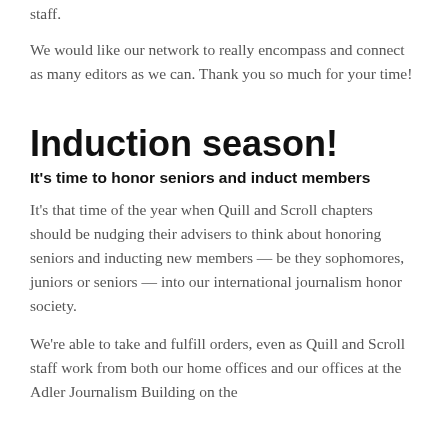staff.
We would like our network to really encompass and connect as many editors as we can. Thank you so much for your time!
Induction season!
It's time to honor seniors and induct members
It's that time of the year when Quill and Scroll chapters should be nudging their advisers to think about honoring seniors and inducting new members — be they sophomores, juniors or seniors — into our international journalism honor society.
We're able to take and fulfill orders, even as Quill and Scroll staff work from both our home offices and our offices at the Adler Journalism Building on the